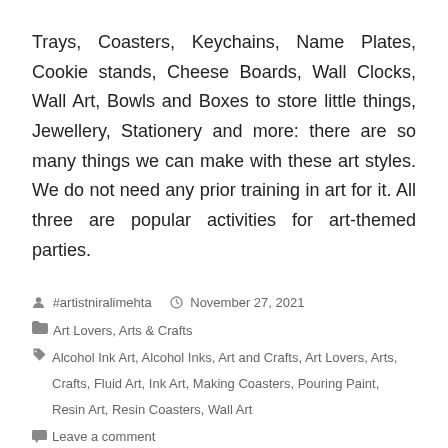Trays, Coasters, Keychains, Name Plates, Cookie stands, Cheese Boards, Wall Clocks, Wall Art, Bowls and Boxes to store little things, Jewellery, Stationery and more: there are so many things we can make with these art styles. We do not need any prior training in art for it. All three are popular activities for art-themed parties.
#artistniralimehta  November 27, 2021
Art Lovers, Arts & Crafts
Alcohol Ink Art, Alcohol Inks, Art and Crafts, Art Lovers, Arts, Crafts, Fluid Art, Ink Art, Making Coasters, Pouring Paint, Resin Art, Resin Coasters, Wall Art
Leave a comment